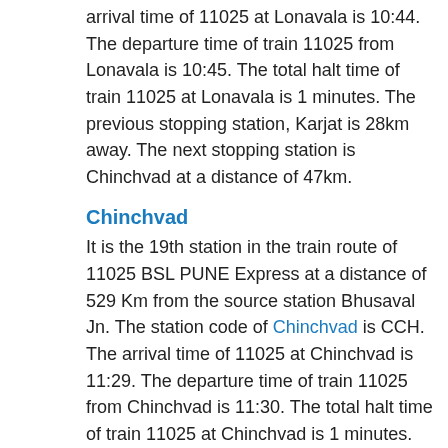arrival time of 11025 at Lonavala is 10:44. The departure time of train 11025 from Lonavala is 10:45. The total halt time of train 11025 at Lonavala is 1 minutes. The previous stopping station, Karjat is 28km away. The next stopping station is Chinchvad at a distance of 47km.
Chinchvad
It is the 19th station in the train route of 11025 BSL PUNE Express at a distance of 529 Km from the source station Bhusaval Jn. The station code of Chinchvad is CCH. The arrival time of 11025 at Chinchvad is 11:29. The departure time of train 11025 from Chinchvad is 11:30. The total halt time of train 11025 at Chinchvad is 1 minutes. The previous stopping station, Lonavala is 47km away. The next stopping station is Pune Jn at a distance of 17km.
Pune Jn
It is the 20th station in the train route of 11025 BSL PUNE Express at a distance of 546 Km from the source station Bhusaval Jn. The station code of Pune Jn is PUNE. The arrival time of 11025 at Pune Jn is 12:05. The previous stopping station, Chinchvad is 17km away.